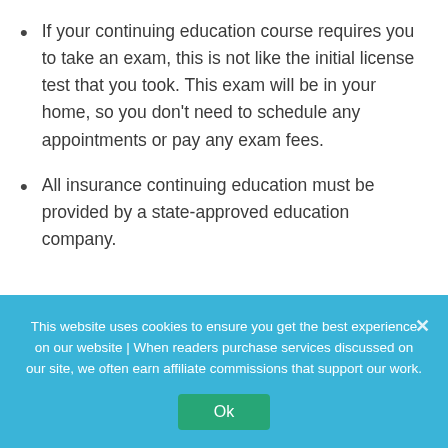If your continuing education course requires you to take an exam, this is not like the initial license test that you took. This exam will be in your home, so you don't need to schedule any appointments or pay any exam fees.
All insurance continuing education must be provided by a state-approved education company.
Life Insurance Continuing Education
This website uses cookies to ensure you get the best experience on our website | When readers purchase services discussed on our site, we often earn affiliate commissions that support our work.